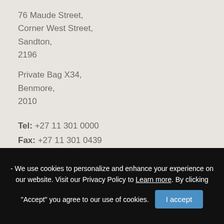76 Maude Street,
Corner West Street,
Sandton,
2196
Private Bag X34,
Benmore,
2010
Tel: +27 11 301 0000
Fax: +27 11 301 0439
GPS: -26.104922, 28.055648
VIEW MAP →
Connect & share
Follow us on Facebook
- We use cookies to personalize and enhance your experience on our website. Visit our Privacy Policy to Learn more. By clicking "Accept" you agree to our use of cookies.